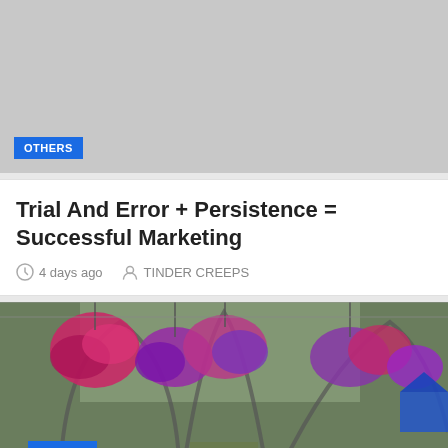[Figure (photo): Gray placeholder image with OTHERS category tag]
Trial And Error + Persistence = Successful Marketing
4 days ago   TINDER CREEPS
[Figure (photo): Greenhouse interior with colorful hanging flower baskets — pink, purple, and red flowers — with OTHERS and LIFESTYLE tags at the bottom left]